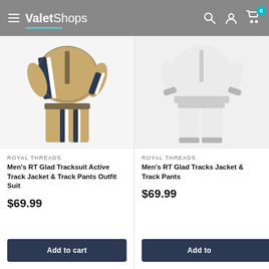ValetShops — navigation header with hamburger menu, logo, search, account, and cart icons (badge: 0)
[Figure (photo): Khaki/tan tracksuit (jacket and pants) with navy and white stripe detail, displayed flat on white background]
ROYAL THREADS
Men's RT Glad Tracksuit Active Track Jacket & Track Pants Outfit Suit
$69.99
Add to cart
[Figure (photo): White tracksuit (jacket and pants) with grey cuffs and details, partially cropped on right side of page]
ROYAL THREADS
Men's RT Glad Tracks Jacket & Track Pants
$69.99
Add to